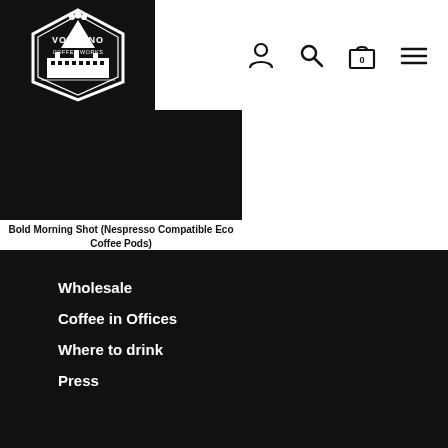[Figure (logo): Volcano Coffee Works logo — white hexagonal badge with volcano illustration and text 'VOLCANO COFFEE WORKS' on black background]
[Figure (other): Navigation icons: user/account icon, search magnifying glass, shopping bag with '0', hamburger menu]
Bold Morning Shot (Nespresso Compatible Eco Coffee Pods)
From £6.50
Wholesale
Coffee in Offices
Where to drink
Press